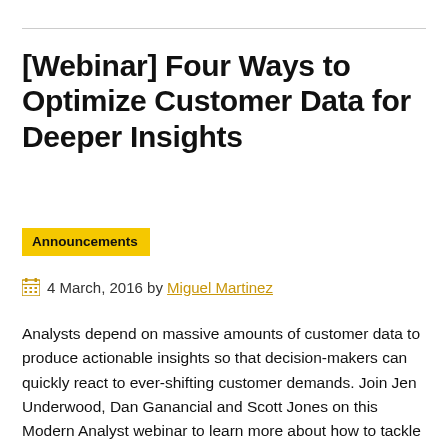[Webinar] Four Ways to Optimize Customer Data for Deeper Insights
Announcements
4 March, 2016 by Miguel Martinez
Analysts depend on massive amounts of customer data to produce actionable insights so that decision-makers can quickly react to ever-shifting customer demands. Join Jen Underwood, Dan Ganancial and Scott Jones on this Modern Analyst webinar to learn more about how to tackle these challenges.